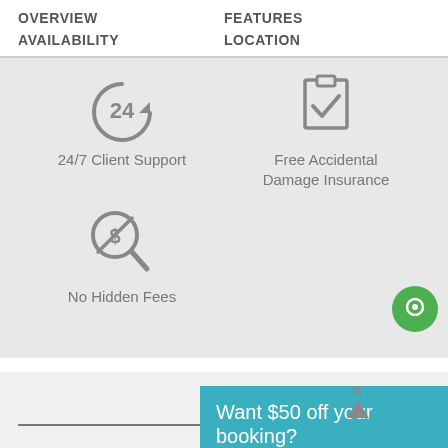OVERVIEW    FEATURES
AVAILABILITY    LOCATION
[Figure (infographic): Icon showing a circular arrow with '24' in center, representing 24/7 Client Support. Next to it is a checkbox icon with a checkmark for Free Accidental Damage Insurance. Below is a magnifying glass with dollar symbol representing No Hidden Fees. A green chat bubble icon is in the bottom right.]
24/7 Client Support
Free Accidental Damage Insurance
No Hidden Fees
Want $50 off your booking?
$292 / NIGHT
$292 | TOTAL
BOOK NOW